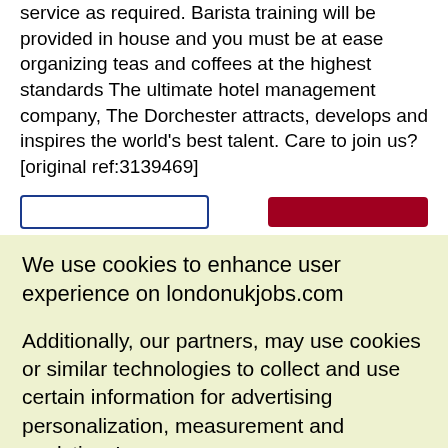service as required. Barista training will be provided in house and you must be at ease organizing teas and coffees at the highest standards The ultimate hotel management company, The Dorchester attracts, develops and inspires the world's best talent. Care to join us?[original ref:3139469]
We use cookies to enhance user experience on londonukjobs.com
Additionally, our partners, may use cookies or similar technologies to collect and use certain information for advertising personalization, measurement and analytics. Learn more
Privacy Policy
I Agree